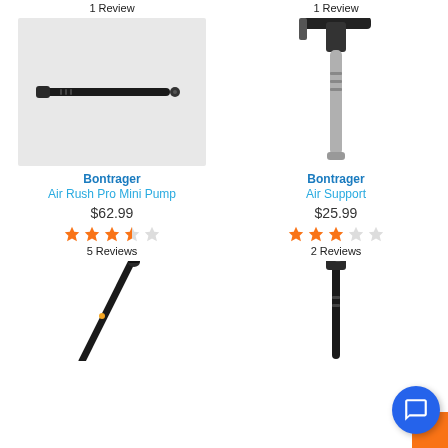1 Review
1 Review
[Figure (photo): Bontrager Air Rush Pro Mini Pump - black cylindrical mini pump]
[Figure (photo): Bontrager Air Support - silver mini pump with T-head]
Bontrager
Air Rush Pro Mini Pump
$62.99
[Figure (other): 3.5 out of 5 stars rating]
5 Reviews
Bontrager
Air Support
$25.99
[Figure (other): 3 out of 5 stars rating]
2 Reviews
[Figure (photo): Black bicycle pump angled view]
[Figure (photo): Black mini bicycle pump vertical]